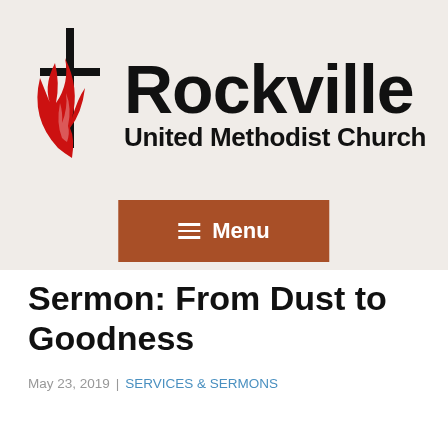[Figure (logo): Rockville United Methodist Church logo with cross and flame symbol in red and black]
[Figure (other): Brown/rust colored Menu button with hamburger icon (three horizontal lines) and text 'Menu']
Sermon: From Dust to Goodness
May 23, 2019 | SERVICES & SERMONS